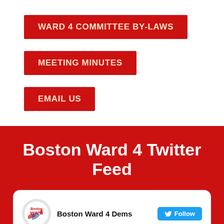WARD 4 COMMITTEE BY-LAWS
MEETING MINUTES
EMAIL US
Boston Ward 4 Twitter Feed
[Figure (screenshot): Twitter/social media embed card showing Boston Ward 4 Dems account with logo, Follow button, and bio text: Democratic ward committee covering Back Bay, South End, and Fenway in Boston]